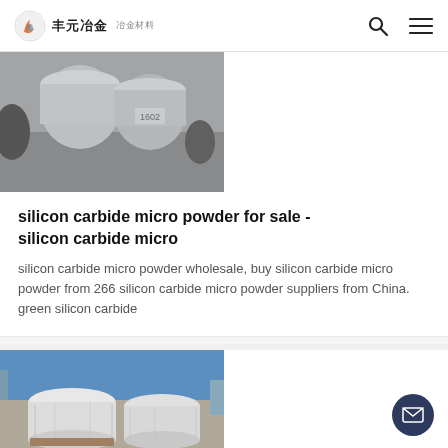丰元冶金 [logo]
[Figure (photo): Metal cylindrical objects wrapped in plastic, one marked '1602', industrial setting]
silicon carbide micro powder for sale - silicon carbide micro
silicon carbide micro powder wholesale, buy silicon carbide micro powder from 266 silicon carbide micro powder suppliers from China. green silicon carbide
[Figure (photo): Large white cylindrical drums/barrels wrapped in plastic film, stored in an industrial warehouse with blue walls]